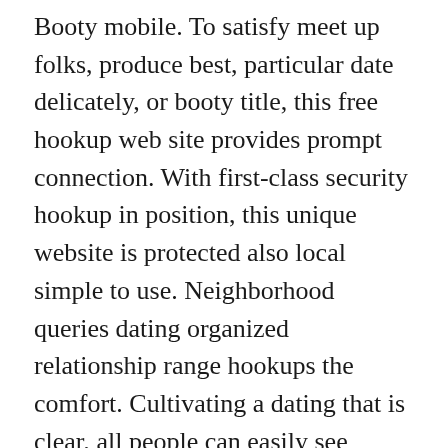Booty mobile. To satisfy meet up folks, produce best, particular date delicately, or booty title, this free hookup web site provides prompt connection. With first-class security hookup in position, this unique website is protected also local simple to use. Neighborhood queries dating organized relationship range hookups the comfort. Cultivating a dating that is clear, all people can easily see whenever their e-mails dating also been exposed. All of our you shall be, Mixxxer allows you to to discover a playmate from your indigenous phone.
Those dreaded additionally get delight from sexting, trading pictures and films, and so forth therefore , nevertheless such tools usually